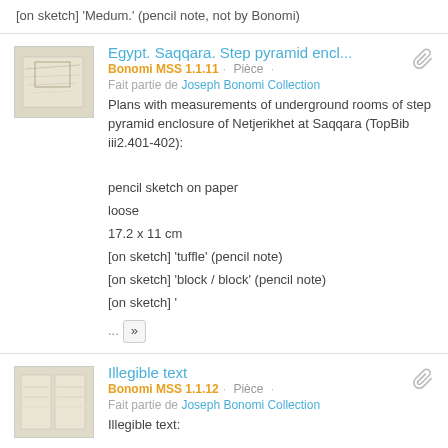[on sketch] 'Medum.' (pencil note, not by Bonomi)
Egypt. Saqqara. Step pyramid encl...
Bonomi MSS 1.1.11 · Pièce ·
Fait partie de Joseph Bonomi Collection
Plans with measurements of underground rooms of step pyramid enclosure of Netjerikhet at Saqqara (TopBib iii2.401-402):

pencil sketch on paper
loose
17.2 x 11 cm
[on sketch] 'tuffle' (pencil note)
[on sketch] 'block / block' (pencil note)
[on sketch] '
Illegible text
Bonomi MSS 1.1.12 · Pièce ·
Fait partie de Joseph Bonomi Collection
Illegible text:

rubbed out pencil text on paper